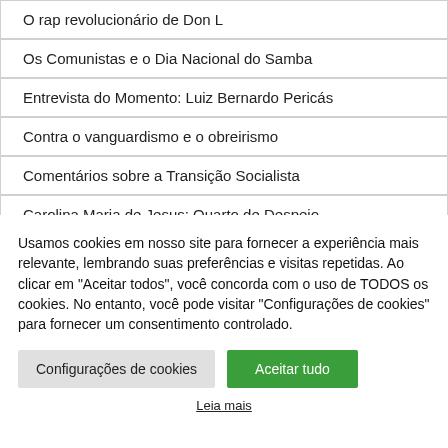O rap revolucionário de Don L
Os Comunistas e o Dia Nacional do Samba
Entrevista do Momento: Luiz Bernardo Pericás
Contra o vanguardismo e o obreirismo
Comentários sobre a Transição Socialista
Carolina Maria de Jesus: Quarto de Despejo
Usamos cookies em nosso site para fornecer a experiência mais relevante, lembrando suas preferências e visitas repetidas. Ao clicar em "Aceitar todos", você concorda com o uso de TODOS os cookies. No entanto, você pode visitar "Configurações de cookies" para fornecer um consentimento controlado.
Configurações de cookies | Aceitar tudo
Leia mais